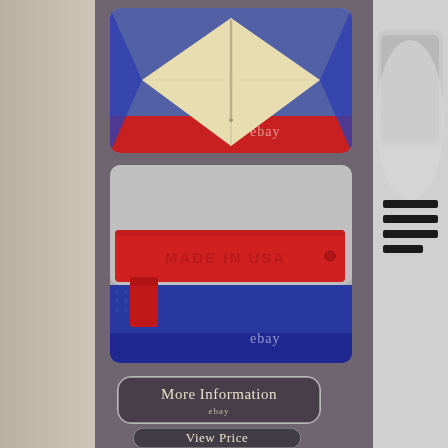[Figure (photo): Close-up interior of a cap showing cream/beige foam padding with a center seam, surrounded by blue mesh and red trim. eBay watermark visible.]
[Figure (photo): Close-up of a red plastic snapback strap with embossed text reading 'MADE IN USA', blue mesh visible below. eBay watermark visible.]
[Figure (photo): Button labeled 'More Information' with 'ebay' text below, on dark rounded-rectangle background.]
[Figure (photo): Button labeled 'View Price' with 'ebay' text below, on dark rounded-rectangle background.]